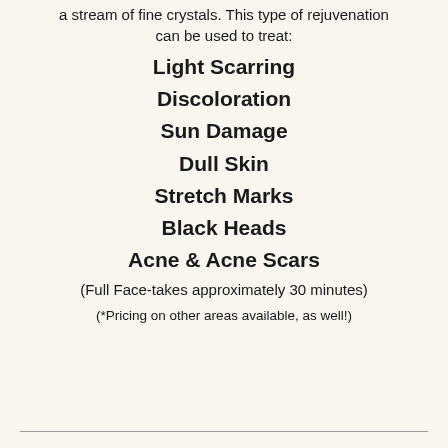a stream of fine crystals. This type of rejuvenation can be used to treat:
Light Scarring
Discoloration
Sun Damage
Dull Skin
Stretch Marks
Black Heads
Acne & Acne Scars
(Full Face-takes approximately 30 minutes)
(*Pricing on other areas available, as well!)